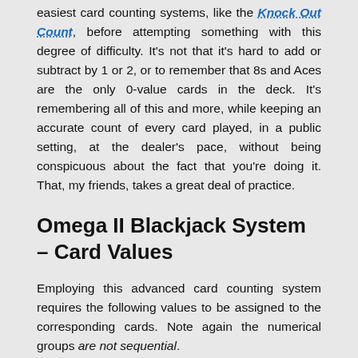easiest card counting systems, like the Knock Out Count, before attempting something with this degree of difficulty. It's not that it's hard to add or subtract by 1 or 2, or to remember that 8s and Aces are the only 0-value cards in the deck. It's remembering all of this and more, while keeping an accurate count of every card played, in a public setting, at the dealer's pace, without being conspicuous about the fact that you're doing it. That, my friends, takes a great deal of practice.
Omega II Blackjack System – Card Values
Employing this advanced card counting system requires the following values to be assigned to the corresponding cards. Note again the numerical groups are not sequential.